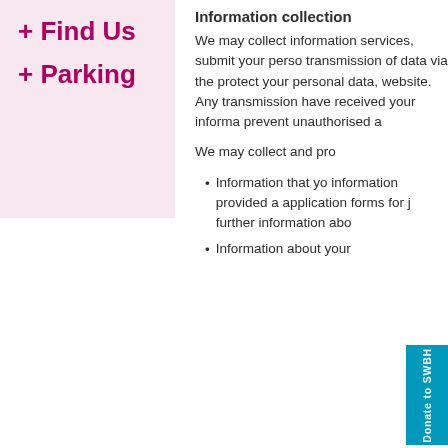+ Find Us
+ Parking
Information collection
We may collect information services, submit your perso transmission of data via the protect your personal data, website. Any transmission have received your informa prevent unauthorised a
We may collect and pro
Information that yo information provided a application forms for j further information abo
Information about your